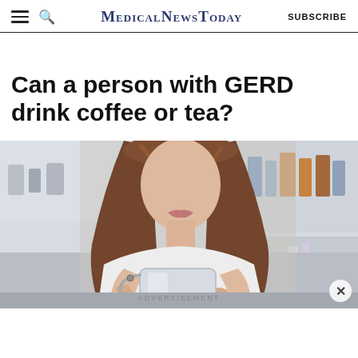MedicalNewsToday | SUBSCRIBE
Can a person with GERD drink coffee or tea?
[Figure (photo): A woman with long brown hair holding a glass water pitcher or kettle in a kitchen, viewed from mid-chest up; blurred kitchen shelves visible in background.]
ADVERTISEMENT